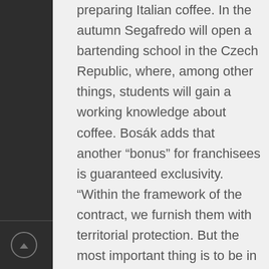preparing Italian coffee. In the autumn Segafredo will open a bartending school in the Czech Republic, where, among other things, students will gain a working knowledge about coffee. Bosák adds that another “bonus” for franchisees is guaranteed exclusivity. “Within the framework of the contract, we furnish them with territorial protection. But the most important thing is to be in love with the Italian